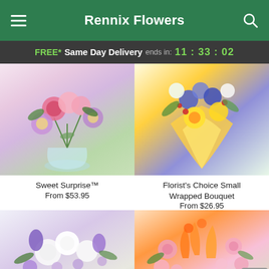Rennix Flowers
FREE* Same Day Delivery ends in: 11 : 33 : 02
[Figure (photo): Sweet Surprise flower arrangement in a glass vase with pink roses, purple daisies, and mixed flowers]
Sweet Surprise™
From $53.95
[Figure (photo): Florist's Choice Small Wrapped Bouquet with purple, blue, yellow, and white flowers wrapped in yellow paper]
Florist's Choice Small Wrapped Bouquet
From $26.95
[Figure (photo): White roses and purple flowers arrangement in a low vase]
[Figure (photo): Orange lilies and pink alstroemeria flower arrangement]